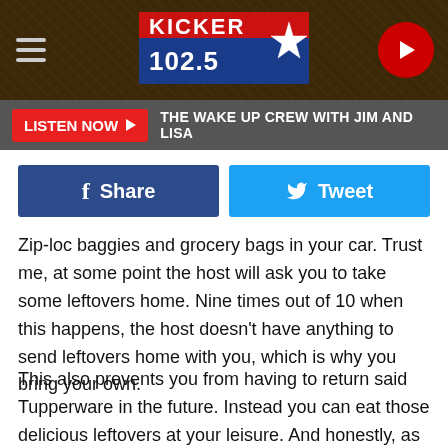Kicker 102.5 — LISTEN NOW ▶ THE WAKE UP CREW WITH JIM AND LISA
[Figure (logo): Kicker 102.5 radio station logo with Texas star on dark textured background header with hamburger menu and play button]
LISTEN NOW ▶  THE WAKE UP CREW WITH JIM AND LISA
f  Share    Tweet
Zip-loc baggies and grocery bags in your car. Trust me, at some point the host will ask you to take some leftovers home. Nine times out of 10 when this happens, the host doesn't have anything to send leftovers home with you, which is why you bring your own.
This also prevents you from having to return said Tupperware in the future. Instead you can eat those delicious leftovers at your leisure. And honestly, as someone who has hosted big gatherings, it's a blessing to have people take that food off of your hands to help prevent waste.